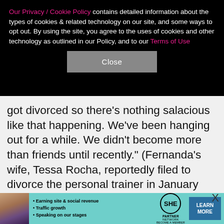Our Privacy / Cookie Policy contains detailed information about the types of cookies & related technology on our site, and some ways to opt out. By using the site, you agree to the uses of cookies and other technology as outlined in our Policy, and to our Terms of Use
Close
got divorced so there's nothing salacious like that happening. We've been hanging out for a while. We didn't become more than friends until recently." (Fernanda's wife, Tessa Rocha, reportedly filed to divorce the personal trainer in January 2021.) Braunwyn, who was recently let go from "RHOC," went on to gush that Fernanda is "definitely special." Said the mother of seven, who's still married to her husband of more than two decades, Sean Burke, "I've been in the
[Figure (screenshot): Advertisement banner for SHE Partner Network showing bullet points: Earning site & social revenue, Traffic growth, Speaking on our stages. Includes SHE logo and Learn More button.]